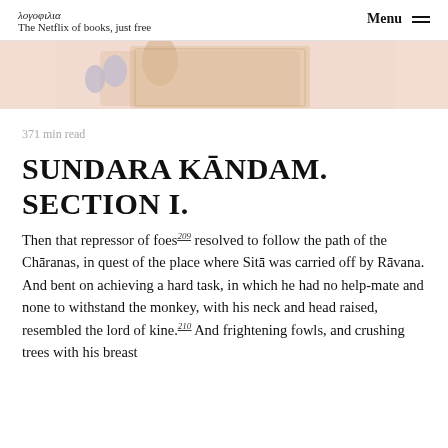λογοφιλια — The Netflix of books, just free | Menu
[Figure (photo): Partial view of a colorful illustrated figure against a pinkish background, showing decorative clothing and blue hands]
371 min read
SUNDARA KĀNDAM. SECTION I.
Then that repressor of foes209 resolved to follow the path of the Chāranas, in quest of the place where Sitā was carried off by Rāvana. And bent on achieving a hard task, in which he had no help-mate and none to withstand the monkey, with his neck and head raised, resembled the lord of kine.210 And frightening fowls, and crushing trees with his breast